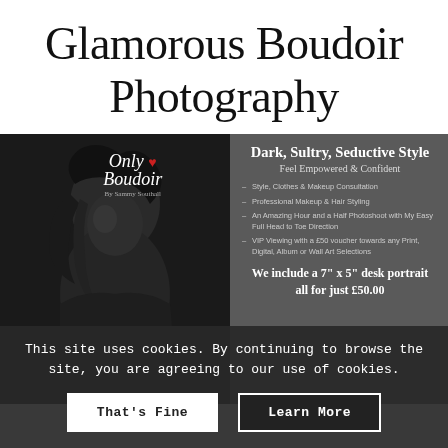Glamorous Boudoir Photography
[Figure (photo): Advertisement for Only Boudoir photography by Sammy Southall. Left side shows a dark, moody black-and-white photo of a woman with the Only Boudoir logo overlay. Right side on grey background lists services: Style, Clothes & Makeup Consultation; Professional Makeup & Hair Styling; An Amazing Hour and a Half Photoshoot with My Easy Full Head to Toe Direction; VIP Viewing with a £50 voucher towards any Print, Digital, Album or Wall Art Selections. Headline: Dark, Sultry, Seductive Style. Sub-headline: Feel Empowered & Confident. Offer: We include a 7" x 5" desk portrait all for just £50.00]
This site uses cookies. By continuing to browse the site, you are agreeing to our use of cookies.
That's Fine
Learn More